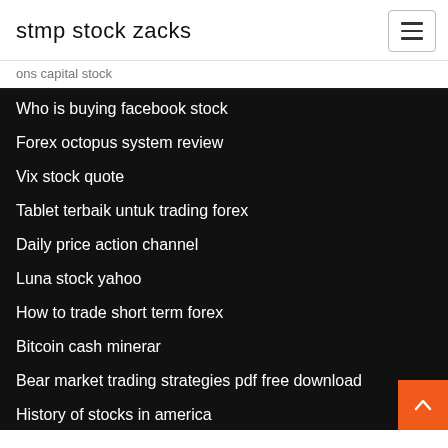stmp stock zacks
ons capital stock
Who is buying facebook stock
Forex octopus system review
Vix stock quote
Tablet terbaik untuk trading forex
Daily price action channel
Luna stock yahoo
How to trade short term forex
Bitcoin cash minerar
Bear market trading strategies pdf free download
History of stocks in america